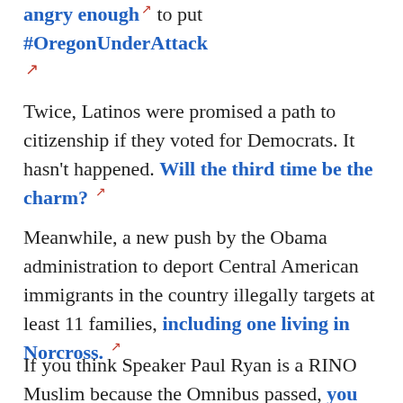angry enough ↗ to put #OregonUnderAttack ↗
Twice, Latinos were promised a path to citizenship if they voted for Democrats. It hasn't happened. Will the third time be the charm? ↗
Meanwhile, a new push by the Obama administration to deport Central American immigrants in the country illegally targets at least 11 families, including one living in Norcross. ↗
If you think Speaker Paul Ryan is a RINO Muslim because the Omnibus passed, you should read this. ↗